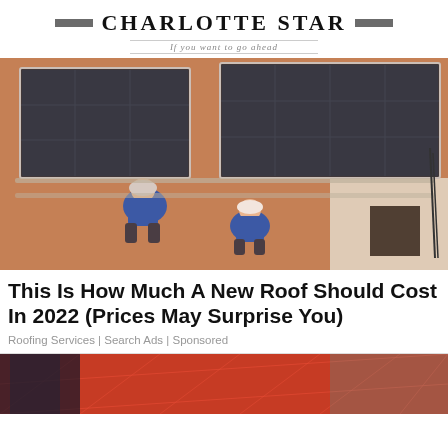Charlotte Star — If you want to go ahead
[Figure (photo): Two workers in blue uniforms and hard hats installing solar panels on a terracotta tile roof. Solar panels visible in upper portion of the roof.]
This Is How Much A New Roof Should Cost In 2022 (Prices May Surprise You)
Roofing Services | Search Ads | Sponsored
[Figure (photo): Partial view of a person near red metal fencing or scaffolding on a construction site.]